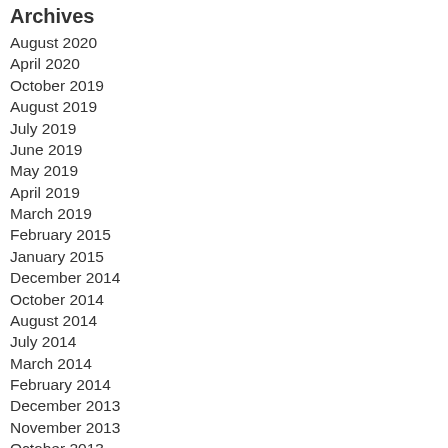Archives
August 2020
April 2020
October 2019
August 2019
July 2019
June 2019
May 2019
April 2019
March 2019
February 2015
January 2015
December 2014
October 2014
August 2014
July 2014
March 2014
February 2014
December 2013
November 2013
October 2013